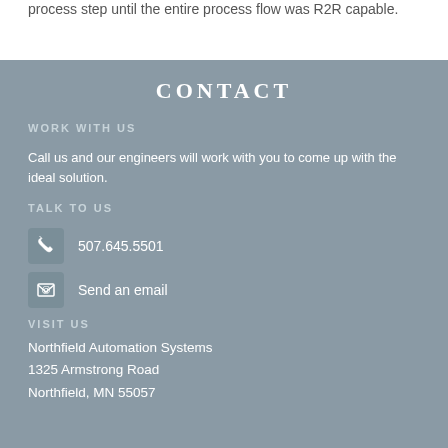process step until the entire process flow was R2R capable.
CONTACT
WORK WITH US
Call us and our engineers will work with you to come up with the ideal solution.
TALK TO US
507.645.5501
Send an email
VISIT US
Northfield Automation Systems
1325 Armstrong Road
Northfield, MN 55057